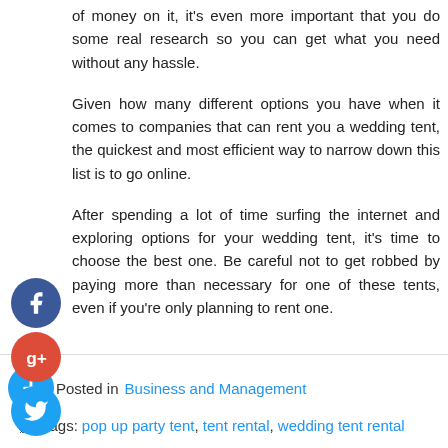of money on it, it's even more important that you do some real research so you can get what you need without any hassle.
Given how many different options you have when it comes to companies that can rent you a wedding tent, the quickest and most efficient way to narrow down this list is to go online.
After spending a lot of time surfing the internet and exploring options for your wedding tent, it's time to choose the best one. Be careful not to get robbed by paying more than necessary for one of these tents, even if you're only planning to rent one.
Posted in Business and Management
Tags: pop up party tent, tent rental, wedding tent rental